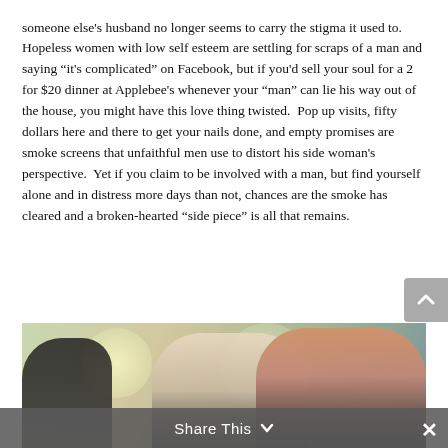someone else's husband no longer seems to carry the stigma it used to.  Hopeless women with low self esteem are settling for scraps of a man and saying "it's complicated" on Facebook, but if you'd sell your soul for a 2 for $20 dinner at Applebee's whenever your "man" can lie his way out of the house, you might have this love thing twisted.  Pop up visits, fifty dollars here and there to get your nails done, and empty promises are smoke screens that unfaithful men use to distort his side woman's perspective.  Yet if you claim to be involved with a man, but find yourself alone and in distress more days than not, chances are the smoke has cleared and a broken-hearted "side piece" is all that remains.
[Figure (photo): A man and two women in a relationship tension scene — man on left in dark clothing (mostly silhouette), blonde woman in center, and red-haired woman on right, with a soft bokeh background.]